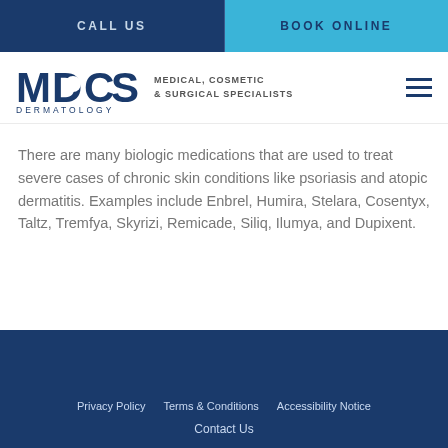CALL US | BOOK ONLINE
[Figure (logo): MDCS Dermatology logo with text MEDICAL, COSMETIC & SURGICAL SPECIALISTS and hamburger menu icon]
There are many biologic medications that are used to treat severe cases of chronic skin conditions like psoriasis and atopic dermatitis. Examples include Enbrel, Humira, Stelara, Cosentyx, Taltz, Tremfya, Skyrizi, Remicade, Siliq, Ilumya, and Dupixent.
Privacy Policy   Terms & Conditions   Accessibility Notice   Contact Us